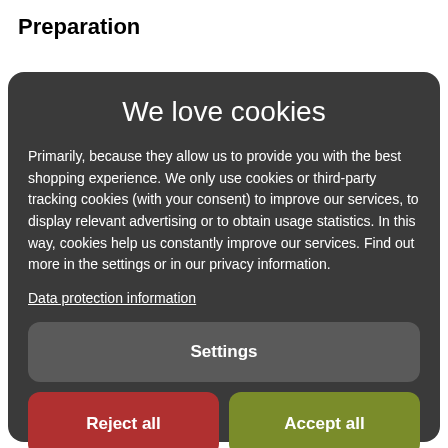Preparation
We love cookies
Primarily, because they allow us to provide you with the best shopping experience. We only use cookies or third-party tracking cookies (with your consent) to improve our services, to display relevant advertising or to obtain usage statistics. In this way, cookies help us constantly improve our services. Find out more in the settings or in our privacy information.
Data protection information
Settings
Reject all
Accept all